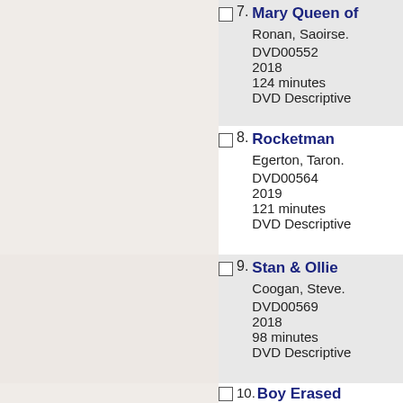7. Mary Queen of Scots — Ronan, Saoirse. DVD00552 2018 124 minutes DVD Descriptive
8. Rocketman — Egerton, Taron. DVD00564 2019 121 minutes DVD Descriptive
9. Stan & Ollie — Coogan, Steve. DVD00569 2018 98 minutes DVD Descriptive
10. Boy Erased